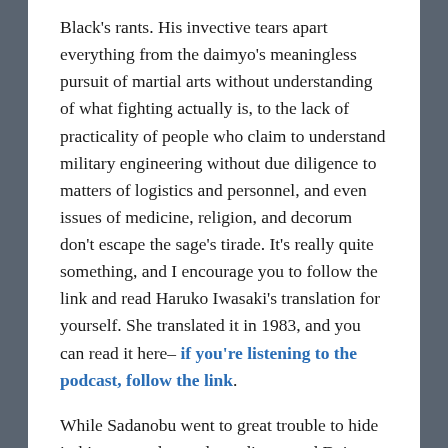Black's rants. His invective tears apart everything from the daimyo's meaningless pursuit of martial arts without understanding of what fighting actually is, to the lack of practicality of people who claim to understand military engineering without due diligence to matters of logistics and personnel, and even issues of medicine, religion, and decorum don't escape the sage's tirade. It's really quite something, and I encourage you to follow the link and read Haruko Iwasaki's translation for yourself. She translated it in 1983, and you can read it here– if you're listening to the podcast, follow the link.
While Sadanobu went to great trouble to hide it, his personal attendants discovered Daimyo Katagi among his papers after his death, and they and their descendants were responsible for seeing it to publication in the Meiji era.
While the Kansei Reforms had a chilling effect on the